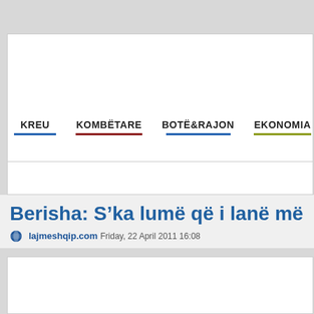KREU   KOMBËTARE   BOTË&RAJON   EKONOMIA
Berisha: S'ka lumë që i lanë më
lajmeshqip.com  Friday, 22 April 2011 16:08